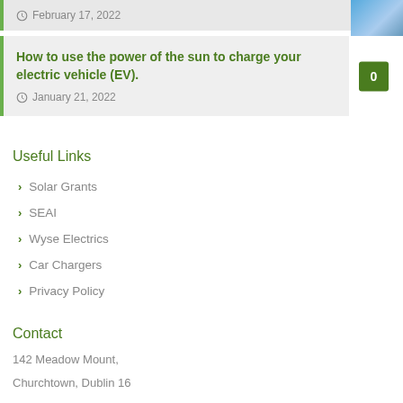February 17, 2022
How to use the power of the sun to charge your electric vehicle (EV).
January 21, 2022
Useful Links
Solar Grants
SEAI
Wyse Electrics
Car Chargers
Privacy Policy
Contact
142 Meadow Mount,
Churchtown, Dublin 16